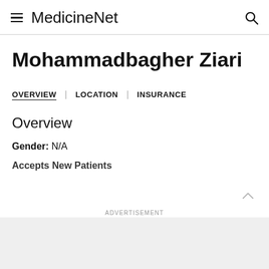MedicineNet
Mohammadbagher Ziari
OVERVIEW | LOCATION | INSURANCE
Overview
Gender: N/A